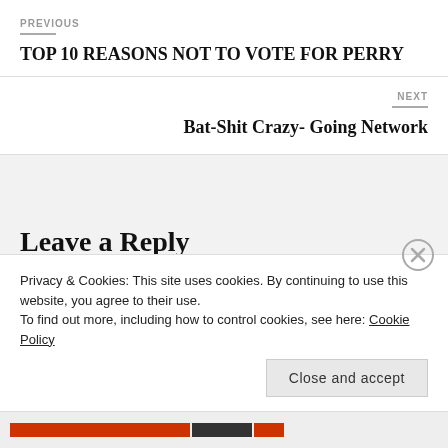PREVIOUS
TOP 10 REASONS NOT TO VOTE FOR PERRY
NEXT
Bat-Shit Crazy- Going Network
Leave a Reply
Privacy & Cookies: This site uses cookies. By continuing to use this website, you agree to their use.
To find out more, including how to control cookies, see here: Cookie Policy